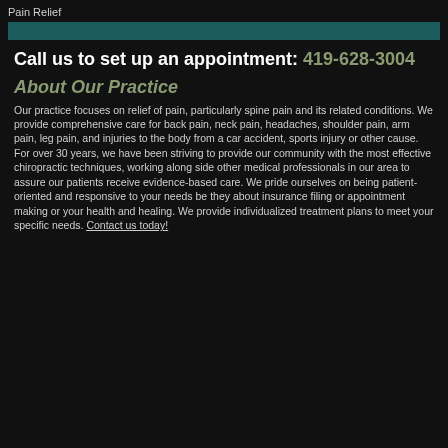Pain Relief
Call us to set up an appointment: 419-628-3004
About Our Practice
Our practice focuses on relief of pain, particularly spine pain and its related conditions. We provide comprehensive care for back pain, neck pain, headaches, shoulder pain, arm pain, leg pain, and injuries to the body from a car accident, sports injury or other cause. For over 30 years, we have been striving to provide our community with the most effective chiropractic techniques, working along side other medical professionals in our area to assure our patients receive evidence-based care. We pride ourselves on being patient-oriented and responsive to your needs be they about insurance filing or appointment making or your health and healing. We provide individualized treatment plans to meet your specific needs. Contact us today!